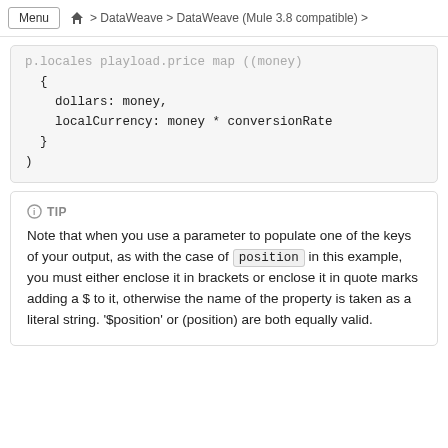Menu > DataWeave > DataWeave (Mule 3.8 compatible) >
p.locales playload.price map ((money) {
    dollars: money,
    localCurrency: money * conversionRate
  }
)
TIP
Note that when you use a parameter to populate one of the keys of your output, as with the case of position in this example, you must either enclose it in brackets or enclose it in quote marks adding a $ to it, otherwise the name of the property is taken as a literal string. '$position' or (position) are both equally valid.